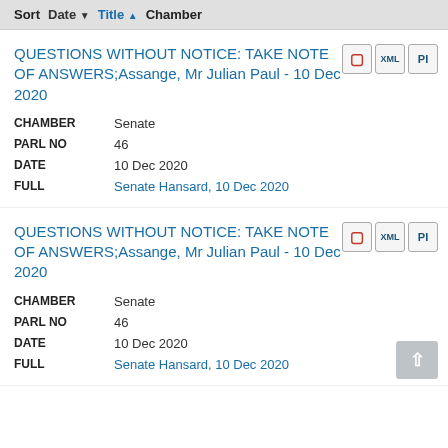Sort  Date ▼  Title ▲  Chamber
QUESTIONS WITHOUT NOTICE: TAKE NOTE OF ANSWERS;Assange, Mr Julian Paul - 10 Dec 2020
CHAMBER: Senate
PARL NO: 46
DATE: 10 Dec 2020
FULL: Senate Hansard, 10 Dec 2020
QUESTIONS WITHOUT NOTICE: TAKE NOTE OF ANSWERS;Assange, Mr Julian Paul - 10 Dec 2020
CHAMBER: Senate
PARL NO: 46
DATE: 10 Dec 2020
FULL: Senate Hansard, 10 Dec 2020